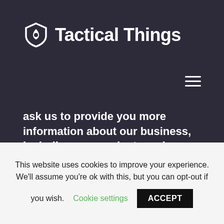Tactical Things
ask us to provide you more information about our business, including our products and services, you provide your consent to us to process information that may be personal information
This website uses cookies to improve your experience. We'll assume you're ok with this, but you can opt-out if you wish. Cookie settings ACCEPT